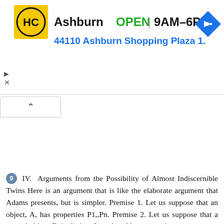[Figure (infographic): Advertisement banner for Hairclub (HC) Ashburn location showing logo, OPEN status, hours 9AM-6PM, address 44110 Ashburn Shopping Plaza 1., and a navigation arrow diamond icon. Play and X controls visible on left side.]
IV. Arguments from the Possibility of Almost Indiscernible Twins Here is an argument that is like the elaborate argument that Adams presents, but is simpler. Premise 1. Let us suppose that an object, A, has properties P1,,Pn. Premise 2. Let us suppose that a second object, B, is distinct from A and has properties